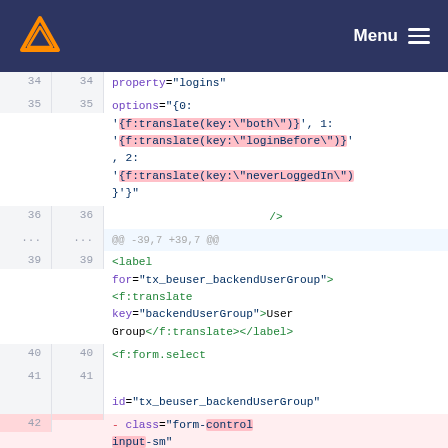Menu (navigation bar with logo)
[Figure (screenshot): Code diff view showing XML/HTML template code with line numbers, displaying changes around lines 34-42. Lines 34-35 show property and options attributes with f:translate calls. Lines 36, 39-41 show HTML label and f:form.select tags. Line 42 shows a deleted class attribute (form-control input-sm) highlighted in red, and an added class (form-select form-) highlighted in green.]